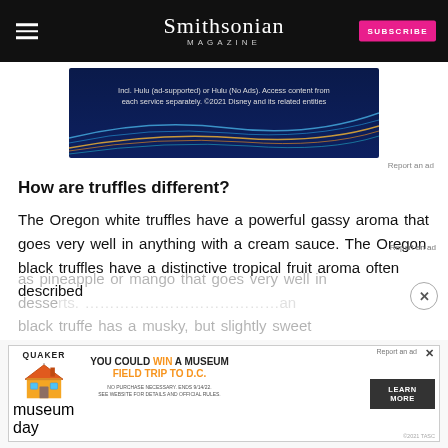Smithsonian MAGAZINE
[Figure (screenshot): Disney/Hulu advertisement banner with dark blue background and colored wave lines. Text: Incl. Hulu (ad-supported) or Hulu (No Ads). Access content from each service separately. ©2021 Disney and its related entities]
Report an ad
How are truffles different?
The Oregon white truffles have a powerful gassy aroma that goes very well in anything with a cream sauce. The Oregon black truffles have a distinctive tropical fruit aroma often described as pineapple or mango that goes very well in desserts. …an black truffe has a musky, but slightly sweet
[Figure (screenshot): Quaker Museum Day advertisement: YOU COULD WIN A MUSEUM FIELD TRIP TO D.C. LEARN MORE. No purchase necessary. Ends 9/14/22. See website for details and official rules.]